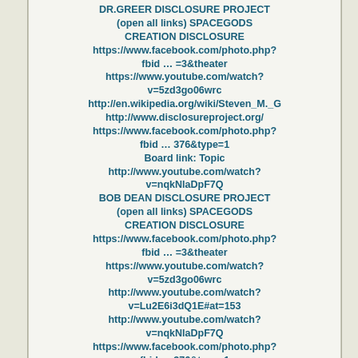DR.GREER DISCLOSURE PROJECT (open all links) SPACEGODS CREATION DISCLOSURE
https://www.facebook.com/photo.php?fbid … =3&theater
https://www.youtube.com/watch?v=5zd3go06wrc
http://en.wikipedia.org/wiki/Steven_M._G
http://www.disclosureproject.org/
https://www.facebook.com/photo.php?fbid … 376&type=1
Board link: Topic
http://www.youtube.com/watch?v=nqkNlaDpF7Q
BOB DEAN DISCLOSURE PROJECT (open all links) SPACEGODS CREATION DISCLOSURE
https://www.facebook.com/photo.php?fbid … =3&theater
https://www.youtube.com/watch?v=5zd3go06wrc
http://www.youtube.com/watch?v=Lu2E6i3dQ1E#at=153
http://www.youtube.com/watch?v=nqkNlaDpF7Q
https://www.facebook.com/photo.php?fbid … 376&type=1
http://www.disclosureproject.org/
Board link: Topic